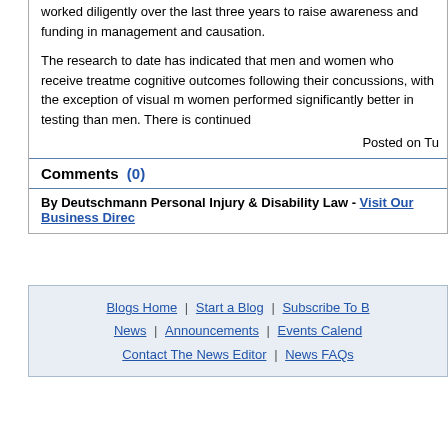worked diligently over the last three years to raise awareness and funding in management and causation.
The research to date has indicated that men and women who receive treatment cognitive outcomes following their concussions, with the exception of visual m women performed significantly better in testing than men. There is continued
Posted on Tu
Comments  (0)
By Deutschmann Personal Injury & Disability Law - Visit Our Business Direc
Blogs Home | Start a Blog | Subscribe To B News | Announcements | Events Calend Contact The News Editor | News FAQs